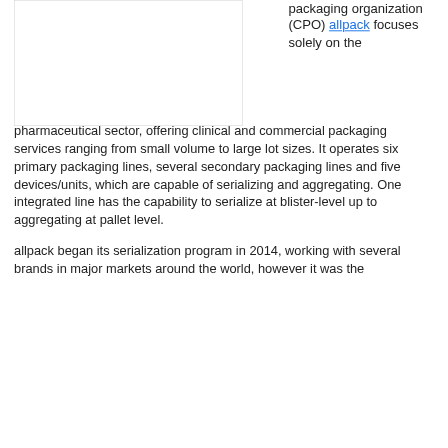[Figure (other): Empty white box with border, partially visible at top-left of page]
packaging organization (CPO) allpack focuses solely on the pharmaceutical sector, offering clinical and commercial packaging services ranging from small volume to large lot sizes. It operates six primary packaging lines, several secondary packaging lines and five devices/units, which are capable of serializing and aggregating. One integrated line has the capability to serialize at blister-level up to aggregating at pallet level.
allpack began its serialization program in 2014, working with several brands in major markets around the world, however it was the